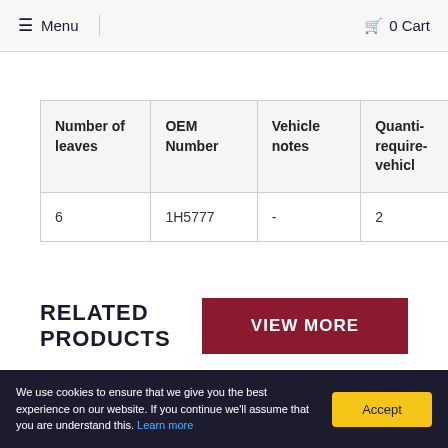≡ Menu  🛒 0 Cart
| Number of leaves | OEM Number | Vehicle notes | Quantity required per vehicle |
| --- | --- | --- | --- |
| 6 | 1H5777 | - | 2 |
RELATED PRODUCTS
VIEW MORE
We use cookies to ensure that we give you the best experience on our website. If you continue we'll assume that you are understand this. Learn more
Accept